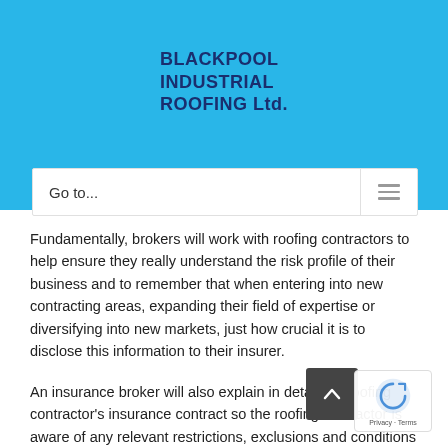BLACKPOOL INDUSTRIAL ROOFING Ltd.
Go to...
Fundamentally, brokers will work with roofing contractors to help ensure they really understand the risk profile of their business and to remember that when entering into new contracting areas, expanding their field of expertise or diversifying into new markets, just how crucial it is to disclose this information to their insurer.
An insurance broker will also explain in detail the roofing contractor's insurance contract so the roofing contractor is aware of any relevant restrictions, exclusions and conditions which they would need to comply with.